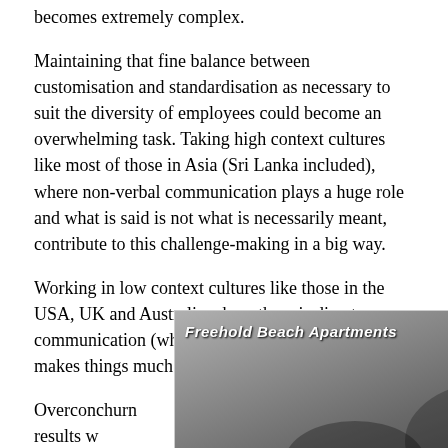becomes extremely complex.
Maintaining that fine balance between customisation and standardisation as necessary to suit the diversity of employees could become an overwhelming task. Taking high context cultures like most of those in Asia (Sri Lanka included), where non-verbal communication plays a huge role and what is said is not what is necessarily meant, contribute to this challenge-making in a big way.
Working in low context cultures like those in the USA, UK and Australia where there is direct communication (what is said is what is meant) makes things much easier to deal with.
[Figure (photo): Advertisement for Freehold Beach Apartments showing a beach scene with people, phone number +94 77 727 5727 and website southbeachweligama.com, with a close button (x) in the top right corner.]
Overcoming ... churn results w... improved ... ty become a critical strategic enrichment. It is as equally